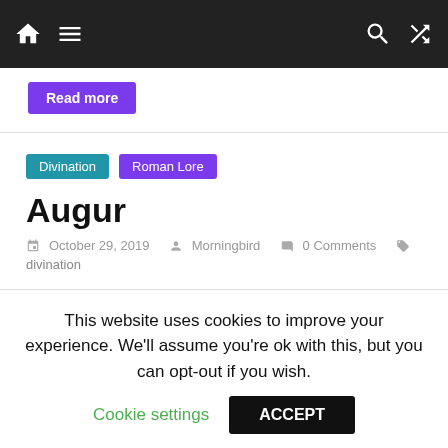Navigation bar with home, menu, search, shuffle icons
Read more
Divination
Roman Lore
Augur
October 29, 2019  Morningbird  0 Comments  divination
In ancient Rome, an augur was a specialized priest who was consulted to translate omens and to use various forms of divination to
This website uses cookies to improve your experience. We'll assume you're ok with this, but you can opt-out if you wish.
Cookie settings  ACCEPT